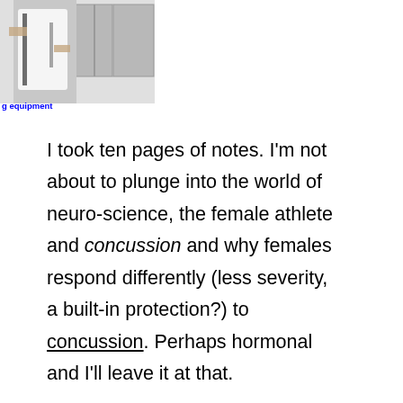[Figure (photo): Photo of a person holding sports/protective equipment in front of lockers or cabinets]
g equipment
I took ten pages of notes. I'm not about to plunge into the world of neuro-science, the female athlete and concussion and why females respond differently (less severity, a built-in protection?) to concussion. Perhaps hormonal and I'll leave it at that.